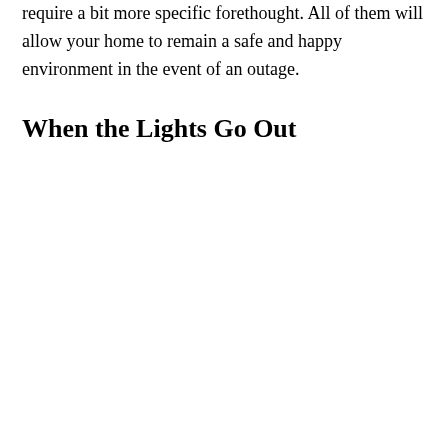require a bit more specific forethought. All of them will allow your home to remain a safe and happy environment in the event of an outage.
When the Lights Go Out